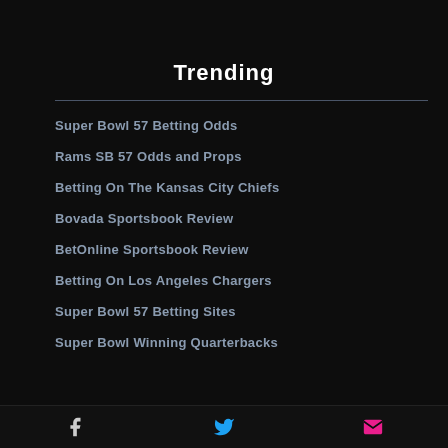Trending
Super Bowl 57 Betting Odds
Rams SB 57 Odds and Props
Betting On The Kansas City Chiefs
Bovada Sportsbook Review
BetOnline Sportsbook Review
Betting On Los Angeles Chargers
Super Bowl 57 Betting Sites
Super Bowl Winning Quarterbacks
Facebook Twitter Email icons